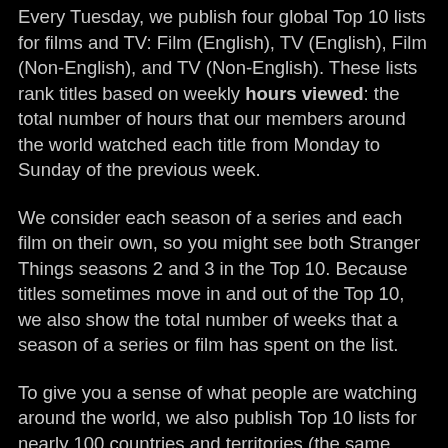Every Tuesday, we publish four global Top 10 lists for films and TV: Film (English), TV (English), Film (Non-English), and TV (Non-English). These lists rank titles based on weekly hours viewed: the total number of hours that our members around the world watched each title from Monday to Sunday of the previous week.
We consider each season of a series and each film on their own, so you might see both Stranger Things seasons 2 and 3 in the Top 10. Because titles sometimes move in and out of the Top 10, we also show the total number of weeks that a season of a series or film has spent on the list.
To give you a sense of what people are watching around the world, we also publish Top 10 lists for nearly 100 countries and territories (the same locations where there are Top 10 rows on Netflix).